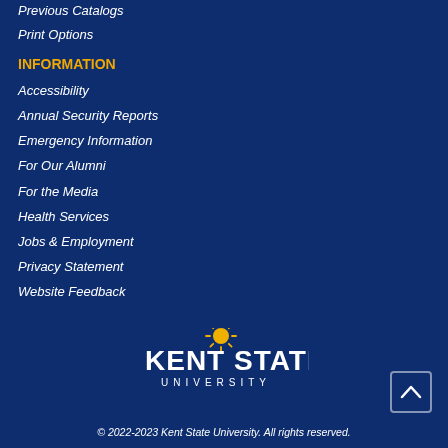Previous Catalogs
Print Options
INFORMATION
Accessibility
Annual Security Reports
Emergency Information
For Our Alumni
For the Media
Health Services
Jobs & Employment
Privacy Statement
Website Feedback
[Figure (logo): Kent State University logo with sunburst icon above text reading KENT STATE UNIVERSITY]
© 2022-2023 Kent State University. All rights reserved.